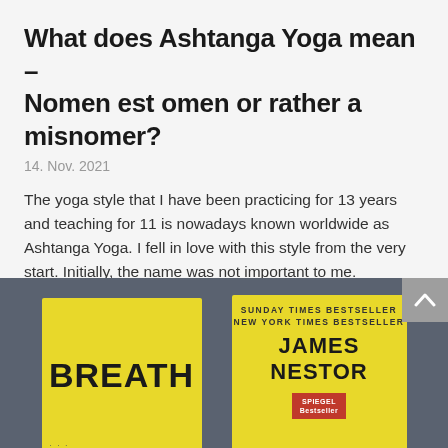What does Ashtanga Yoga mean – Nomen est omen or rather a misnomer?
14. Nov. 2021
The yoga style that I have been practicing for 13 years and teaching for 11 is nowadays known worldwide as Ashtanga Yoga. I fell in love with this style from the very start. Initially, the name was not important to me. However,  I later started to question why this...
read more
[Figure (photo): Two yellow book covers photographed on a dark gray-blue surface. The left book shows the title BREATH in large bold black letters. The right book shows 'SUNDAY TIMES BESTSELLER / NEW YORK TIMES BESTSELLER' at top, then author name JAMES NESTOR in large bold black text, with a red SPIEGEL Bestseller badge below.]